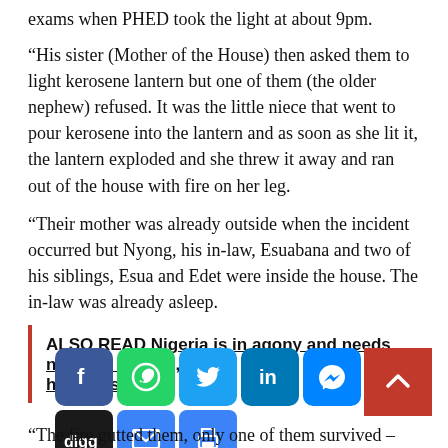exams when PHED took the light at about 9pm.
“His sister (Mother of the House) then asked them to light kerosene lantern but one of them (the older nephew) refused. It was the little niece that went to pour kerosene into the lantern and as soon as she lit it, the lantern exploded and she threw it away and ran out of the house with fire on her leg.
“Their mother was already outside when the incident occurred but Nyong, his in-law, Esuabana and two of his siblings, Esua and Edet were inside the house. The in-law was already asleep.
ALSO READ  Nigeria is in agony and needs national healing, say… Ganda… b…
[Figure (infographic): Social media share buttons: Facebook, WhatsApp, Twitter, LinkedIn, Messenger, Digg, Mail, Print icons, plus a red scroll-to-top button]
“The fire gutted them, only one of them survived –